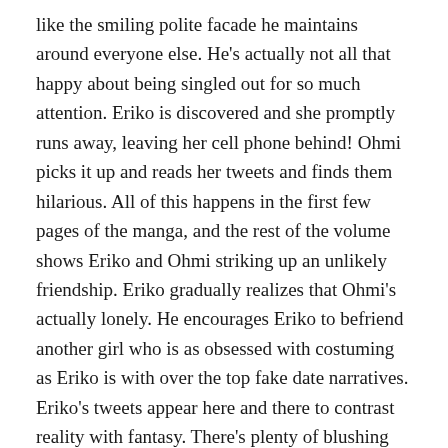like the smiling polite facade he maintains around everyone else. He's actually not all that happy about being singled out for so much attention. Eriko is discovered and she promptly runs away, leaving her cell phone behind! Ohmi picks it up and reads her tweets and finds them hilarious. All of this happens in the first few pages of the manga, and the rest of the volume shows Eriko and Ohmi striking up an unlikely friendship. Eriko gradually realizes that Ohmi's actually lonely. He encourages Eriko to befriend another girl who is as obsessed with costuming as Eriko is with over the top fake date narratives. Eriko's tweets appear here and there to contrast reality with fantasy. There's plenty of blushing and over the top emotions in the art, but Eriko isn't really believable as an invisible plain girl because all the character designs are generally attractive.
Eriko's twitter asides are genuinely hilarious, as she will take a small detail like a misplaced jersey and spin it out